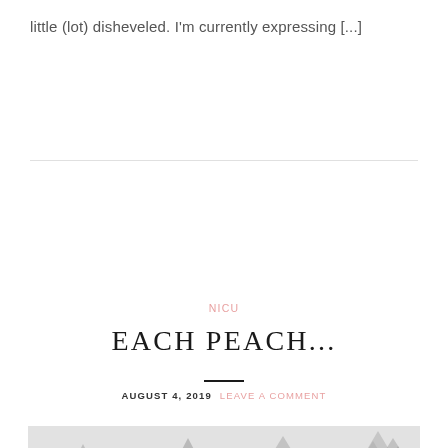little (lot) disheveled. I'm currently expressing [...]
NICU
EACH PEACH...
AUGUST 4, 2019  LEAVE A COMMENT
[Figure (photo): Blog featured image showing small triangle decorations on a light background with a large grey sphere and the text 'the insta posts' in muted blue]